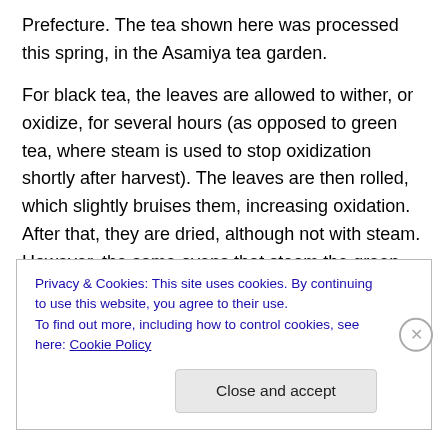Prefecture. The tea shown here was processed this spring, in the Asamiya tea garden.
For black tea, the leaves are allowed to wither, or oxidize, for several hours (as opposed to green tea, where steam is used to stop oxidization shortly after harvest). The leaves are then rolled, which slightly bruises them, increasing oxidation. After that, they are dried, although not with steam. However, the same ovens that steam the green teas are used, just with reconfigured settings (see earlier posts for photos of the production equipment).
Privacy & Cookies: This site uses cookies. By continuing to use this website, you agree to their use.
To find out more, including how to control cookies, see here: Cookie Policy
Close and accept